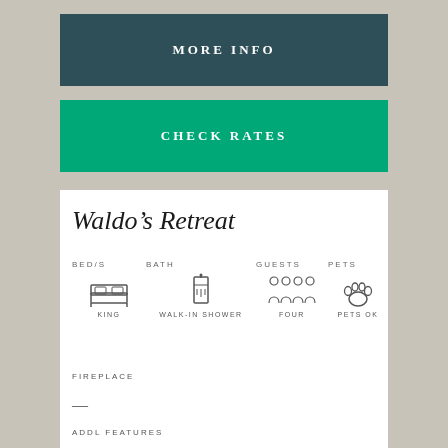MORE INFO
CHECK RATES
Waldo's Retreat
BED/S: KING
BATH: WALK-IN SHOWER
GUESTS: FOUR
PETS: PETS OK
FIREPLACE
—
ADDL FEATURES